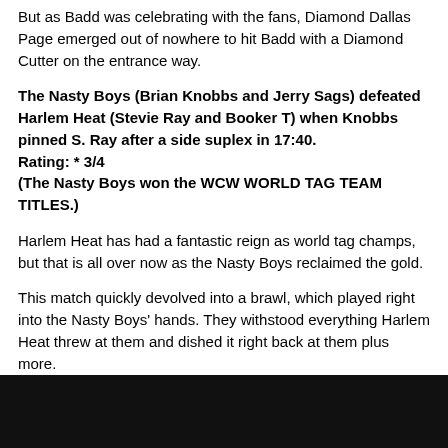But as Badd was celebrating with the fans, Diamond Dallas Page emerged out of nowhere to hit Badd with a Diamond Cutter on the entrance way.
The Nasty Boys (Brian Knobbs and Jerry Sags) defeated Harlem Heat (Stevie Ray and Booker T) when Knobbs pinned S. Ray after a side suplex in 17:40.
Rating: * 3/4
(The Nasty Boys won the WCW WORLD TAG TEAM TITLES.)
Harlem Heat has had a fantastic reign as world tag champs, but that is all over now as the Nasty Boys reclaimed the gold.
This match quickly devolved into a brawl, which played right into the Nasty Boys' hands. They withstood everything Harlem Heat threw at them and dished it right back at them plus more.
That added up to The Nasty Boys starting their second world title reign.
Sting pinned Dustin Rhodes after the Stinger Splash in 16:04.
Rating: ** 1/2
Dustin Rhodes, once a close ally of the Stinger, put the blame on him for turning the tide of his recent feud with Davey Boy Smith. He also added that he's learned more in the last six months working with Terry Funk than he did being a friend of Sting's, and he was going to prove it.